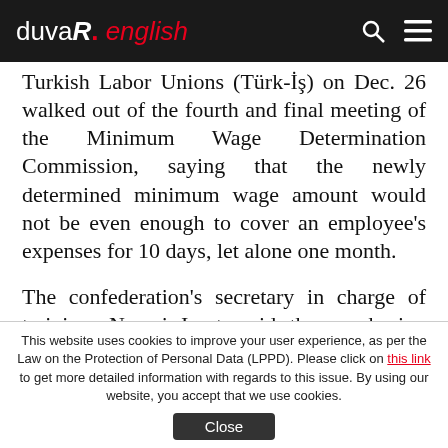duvaR. english
Turkish Labor Unions (Türk-İş) on Dec. 26 walked out of the fourth and final meeting of the Minimum Wage Determination Commission, saying that the newly determined minimum wage amount would not be even enough to cover an employee's expenses for 10 days, let alone one month.
The confederation's secretary in charge of training, Nazmi Irgat, said the purchasing power is currently at its lowest since 2008, due to an ongoing economic crisis and the confederation
This website uses cookies to improve your user experience, as per the Law on the Protection of Personal Data (LPPD). Please click on this link to get more detailed information with regards to this issue. By using our website, you accept that we use cookies.